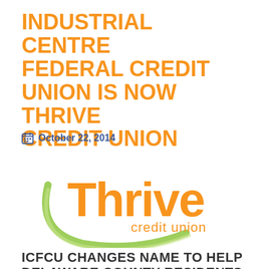INDUSTRIAL CENTRE FEDERAL CREDIT UNION IS NOW THRIVE CREDIT UNION
October 22, 2014
[Figure (logo): Thrive Credit Union logo: green swoosh arc on the left, large orange 'Thrive' text, smaller orange 'credit union' text below]
ICFCU CHANGES NAME TO HELP DELAWARE COUNTY RESIDENTS